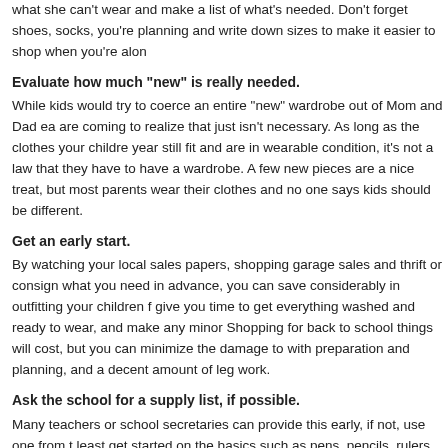what she can't wear and make a list of what's needed. Don't forget shoes, socks, you're planning and write down sizes to make it easier to shop when you're alon
Evaluate how much “new” is really needed.
While kids would try to coerce an entire “new” wardrobe out of Mom and Dad ea are coming to realize that just isn’t necessary. As long as the clothes your childre year still fit and are in wearable condition, it’s not a law that they have to have a wardrobe. A few new pieces are a nice treat, but most parents wear their clothes and no one says kids should be different.
Get an early start.
By watching your local sales papers, shopping garage sales and thrift or consign what you need in advance, you can save considerably in outfitting your children f give you time to get everything washed and ready to wear, and make any minor Shopping for back to school things will cost, but you can minimize the damage to with preparation and planning, and a decent amount of leg work.
Ask the school for a supply list, if possible.
Many teachers or school secretaries can provide this early, if not, use one from t least get started on the basics such as pens, pencils, rulers, etc. Some things yo the previous year, but you’ll typically have to purchase some supplies. Often you on school supplies by shopping early, so knowing what each child will need will b